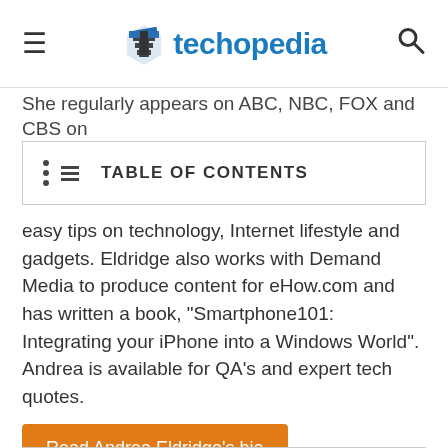techopedia
She regularly appears on ABC, NBC, FOX and CBS on
TABLE OF CONTENTS
easy tips on technology, Internet lifestyle and gadgets. Eldridge also works with Demand Media to produce content for eHow.com and has written a book, "Smartphone101: Integrating your iPhone into a Windows World". Andrea is available for QA's and expert tech quotes.
Read Andrea Eldridge's bio
Follow: